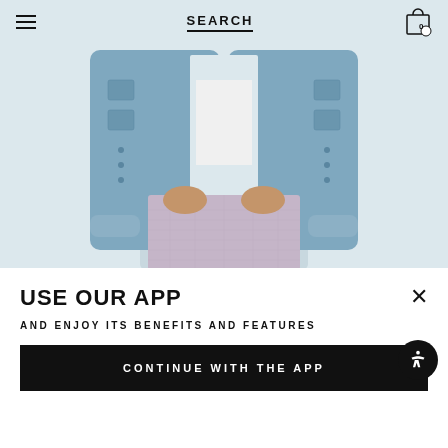[Figure (photo): Fashion photo showing a person wearing a cropped denim jacket and a light lavender/lilac textured mini skirt, photographed from neck to mid-thigh against a light grey background.]
☰  SEARCH  [cart icon 0]
USE OUR APP
AND ENJOY ITS BENEFITS AND FEATURES
CONTINUE WITH THE APP